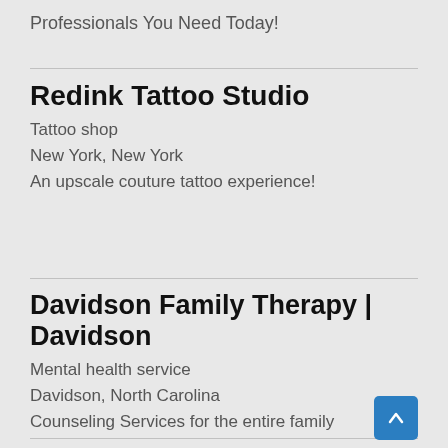Professionals You Need Today!
Redink Tattoo Studio
Tattoo shop
New York, New York
An upscale couture tattoo experience!
Davidson Family Therapy | Davidson
Mental health service
Davidson, North Carolina
Counseling Services for the entire family